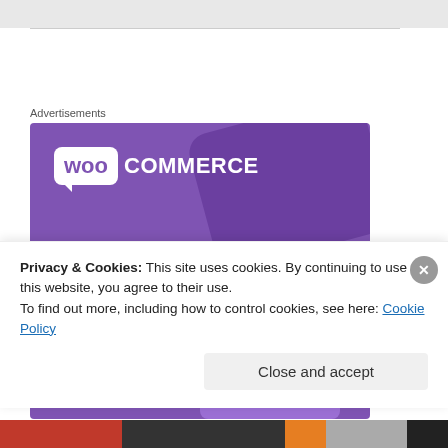[Figure (illustration): WooCommerce advertisement banner with purple background, WooCommerce logo, tagline 'The most customizable eCommerce platform', and a 'Start a new store' button with cart icon graphic.]
Privacy & Cookies: This site uses cookies. By continuing to use this website, you agree to their use.
To find out more, including how to control cookies, see here: Cookie Policy
Close and accept